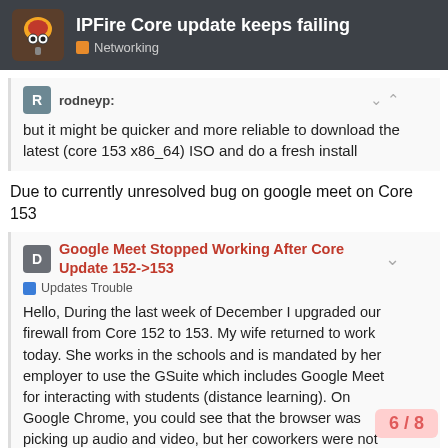IPFire Core update keeps failing — Networking
rodneyp: but it might be quicker and more reliable to download the latest (core 153 x86_64) ISO and do a fresh install
Due to currently unresolved bug on google meet on Core 153
Google Meet Stopped Working After Core Update 152->153 — Updates Trouble — Hello, During the last week of December I upgraded our firewall from Core 152 to 153. My wife returned to work today. She works in the schools and is mandated by her employer to use the GSuite which includes Google Meet for interacting with students (distance learning). On Google Chrome, you could see that the browser was picking up audio and video, but her coworkers were not hearing audio and not seeing video from her. After a b... we found: This outage affected everythi
6 / 8